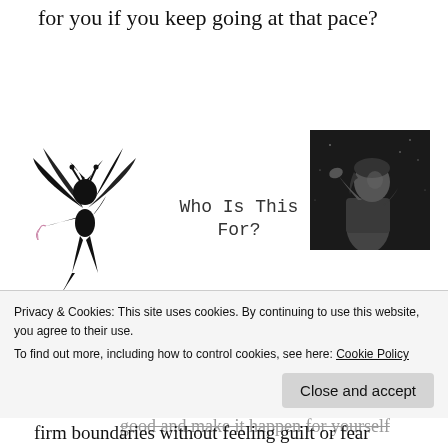for you if you keep going at that pace?
[Figure (illustration): Black silhouette fairy illustration on left side]
Who Is This For?
[Figure (photo): Black and white photo of a person looking upward with hand raised to forehead]
This is for you if
You can't wait to overcome procrastination for good and make it happen for yourself
Privacy & Cookies: This site uses cookies. By continuing to use this website, you agree to their use.
To find out more, including how to control cookies, see here: Cookie Policy
firm boundaries without feeling guilt or fear